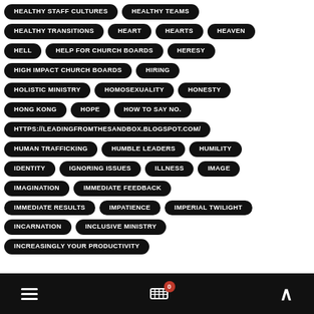HEALTHY STAFF CULTURES
HEALTHY TEAMS
HEALTHY TRANSITIONS
HEART
HEARTS
HEAVEN
HELL
HELP FOR CHURCH BOARDS
HERESY
HIGH IMPACT CHURCH BOARDS
HIRING
HOLISTIC MINISTRY
HOMOSEXUALITY
HONESTY
HONG KONG
HOPE
HOW TO SAY NO.
HTTPS://LEADINGFROMTHESANDBOX.BLOGSPOT.COM/
HUMAN TRAFFICKING
HUMBLE LEADERS
HUMILITY
IDENTITY
IGNORING ISSUES
ILLNESS
IMAGE
IMAGINATION
IMMEDIATE FEEDBACK
IMMEDIATE RESULTS
IMPATIENCE
IMPERIAL TWILIGHT
INCARNATION
INCLUSIVE MINISTRY
INCREASINGLY YOUR PRODUCTIVITY
☰  🛒0  ∧